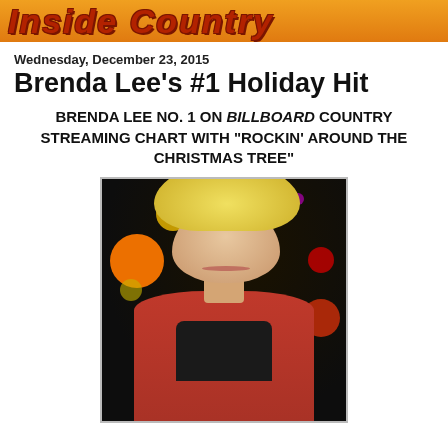Inside Country
Wednesday, December 23, 2015
Brenda Lee's #1 Holiday Hit
BRENDA LEE NO. 1 ON BILLBOARD COUNTRY STREAMING CHART WITH "ROCKIN' AROUND THE CHRISTMAS TREE"
[Figure (photo): Portrait photo of Brenda Lee smiling, wearing a red jacket, with colorful bokeh lights (orange, yellow, red, purple) in the dark background]